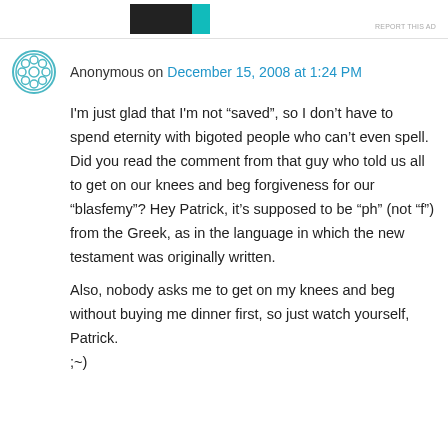REPORT THIS AD
Anonymous on December 15, 2008 at 1:24 PM
I'm just glad that I'm not “saved”, so I don’t have to spend eternity with bigoted people who can’t even spell. Did you read the comment from that guy who told us all to get on our knees and beg forgiveness for our “blasfemy”? Hey Patrick, it’s supposed to be “ph” (not “f”) from the Greek, as in the language in which the new testament was originally written.

Also, nobody asks me to get on my knees and beg without buying me dinner first, so just watch yourself, Patrick.
;~)